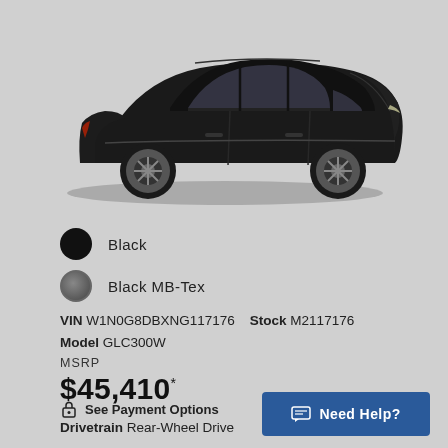[Figure (photo): Side profile photo of a black Mercedes-Benz GLC SUV on a light gray background]
Black
Black MB-Tex
VIN W1N0G8DBXNG117176    Stock M2117176
Model GLC300W
MSRP
$45,410*
See Payment Options
Drivetrain Rear-Wheel Drive
Need Help?